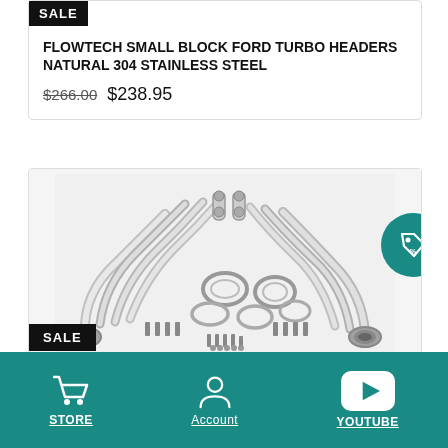FLOWTECH SMALL BLOCK FORD TURBO HEADERS NATURAL 304 STAINLESS STEEL
$266.00  $238.95
[Figure (photo): Stainless steel turbo headers with gaskets, flanges, collector rings, and hardware bolts on a white background]
SALE
STORE  Account  YOUTUBE